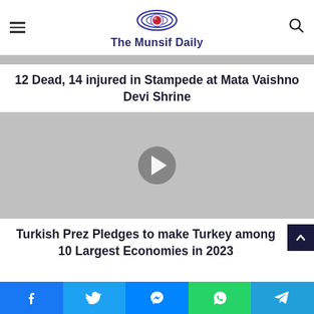The Munsif Daily
12 Dead, 14 injured in Stampede at Mata Vaishno Devi Shrine
[Figure (other): Video player with gray background and play button arrow icon]
Turkish Prez Pledges to make Turkey among 10 Largest Economies in 2023